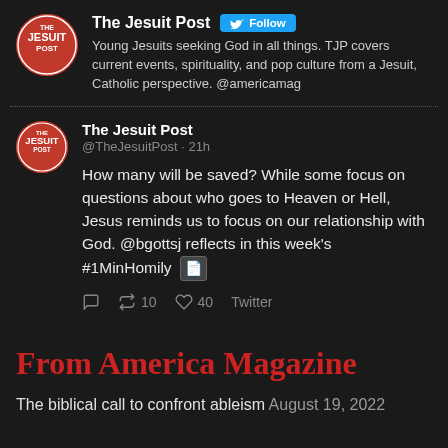[Figure (logo): The Jesuit Post circular red logo with white text]
The Jesuit Post Follow
Young Jesuits seeking God in all things. TJP covers current events, spirituality, and pop culture from a Jesuit, Catholic perspective. @americamag
[Figure (logo): The Jesuit Post circular red logo with white text (smaller, for tweet)]
The Jesuit Post
@TheJesuitPost · 21h
How many will be saved? While some focus on questions about who goes to Heaven or Hell, Jesus reminds us to focus on our relationship with God. @bgottsj reflects in this week's #1MinHomily 🗒
🗨 🔁 10 ♡ 40 Twitter
From America Magazine
The biblical call to confront ableism August 19, 2022